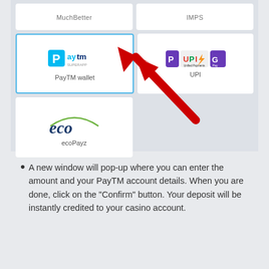[Figure (screenshot): Payment method selection grid showing MuchBetter, IMPS, PayTM wallet (highlighted), UPI, and ecoPayz cards with a red arrow pointing to PayTM wallet card]
A new window will pop-up where you can enter the amount and your PayTM account details. When you are done, click on the “Confirm” button. Your deposit will be instantly credited to your casino account.